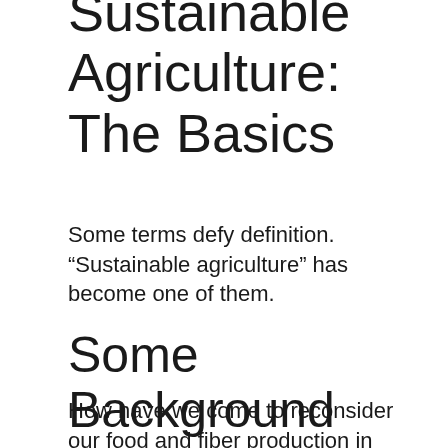Sustainable Agriculture: The Basics
Some terms defy definition. “Sustainable agriculture” has become one of them.
Some Background
How have we come to reconsider our food and fiber production in terms of sustainability? What are the ecological, economic, social and philosophical issues that sustainable agriculture addresses?